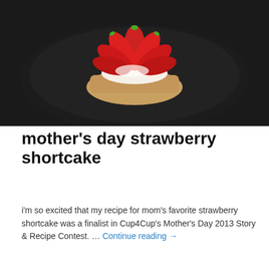[Figure (photo): Strawberry shortcake on a dark plate, viewed from above, with sliced strawberries fanned out on top of cream and biscuit]
mother's day strawberry shortcake
i'm so excited that my recipe for mom's favorite strawberry shortcake was a finalist in Cup4Cup's Mother's Day 2013 Story & Recipe Contest. … Continue reading →
May 15, 2013    2 Replies
[Figure (photo): A golden waffle on a dark plate, photographed from above]